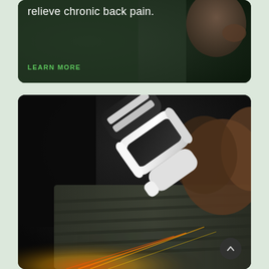[Figure (photo): Dark-toned promotional card showing an elderly person reclining, with white text overlay reading 'relieve chronic back pain.' and a green 'LEARN MORE' link below.]
relieve chronic back pain.
LEARN MORE
[Figure (photo): Close-up photo of a white and black handheld medical laser/therapy device being applied to a person's back through a dark sweater, with orange and yellow light rays visible at the bottom indicating therapeutic energy.]